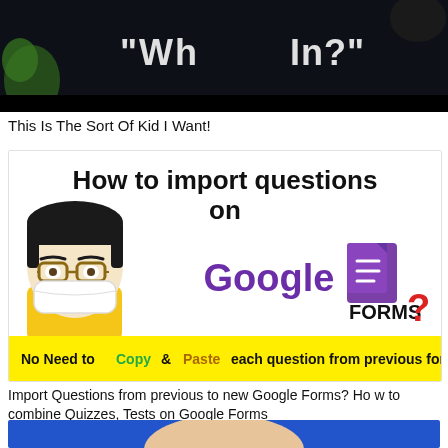[Figure (screenshot): Dark video thumbnail showing partial text 'WH' and 'IN?' on black background]
This Is The Sort Of Kid I Want!
[Figure (screenshot): Thumbnail for Google Forms tutorial video showing 'How to import questions on Google Forms?' with illustrated character wearing mask and yellow banner reading 'No Need to Copy & Paste each question from previous forms!']
Import Questions from previous to new Google Forms? How to combine Quizzes, Tests on Google Forms
[Figure (photo): Partial photo of a person against a blue background, cropped at bottom of page]